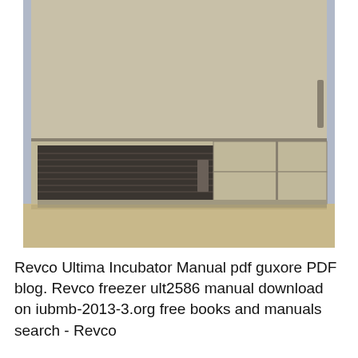[Figure (photo): Photograph of the bottom portion of a Revco ultra-low temperature freezer, showing the compressor/ventilation grill section on the left with horizontal louvered vents, and storage compartment panels on the right, against a blue-grey wall background on a concrete floor.]
Revco Ultima Incubator Manual pdf guxore PDF blog. Revco freezer ult2586 manual download on iubmb-2013-3.org free books and manuals search - Revco